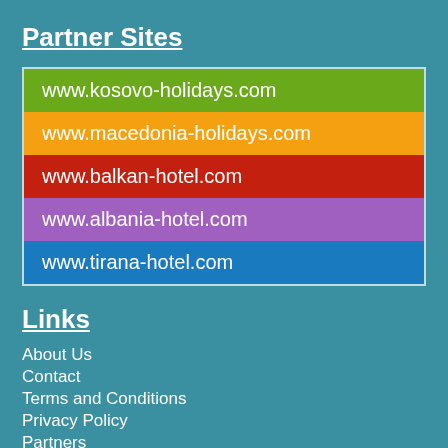Partner Sites
www.kosovo-holidays.com
www.macedonia-holidays.com
www.balkan-hotel.com
www.albania-hotel.com
www.tirana-hotel.com
Links
About Us
Contact
Terms and Conditions
Privacy Policy
Partners
For Hoteliers